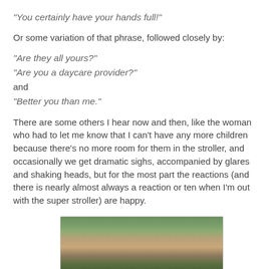"You certainly have your hands full!"
Or some variation of that phrase, followed closely by:
"Are they all yours?"
"Are you a daycare provider?"
and
"Better you than me."
There are some others I hear now and then, like the woman who had to let me know that I can't have any more children because there's no more room for them in the stroller, and occasionally we get dramatic sighs, accompanied by glares and shaking heads, but for the most part the reactions (and there is nearly almost always a reaction or ten when I'm out with the super stroller) are happy.
[Figure (photo): A woman with dark hair in a ponytail wearing a blue top, standing outside in front of a brick building with green bushes/shrubs, appearing to be with a stroller]